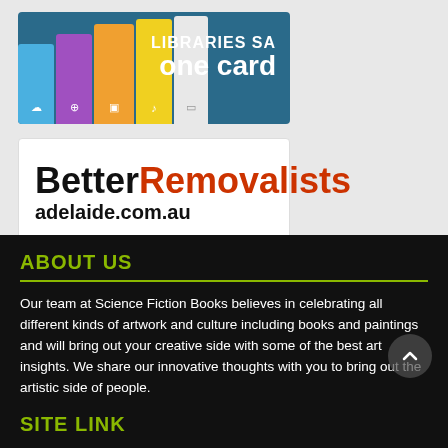[Figure (logo): Libraries SA One Card logo — coloured book spines on teal background with white text 'LIBRARIES SA one card']
[Figure (logo): Better Removalists Adelaide logo — black and orange bold text on white background: 'BetterRemovalists adelaide.com.au']
ABOUT US
Our team at Science Fiction Books believes in celebrating all different kinds of artwork and culture including books and paintings and will bring out your creative side with some of the best art insights. We share our innovative thoughts with you to bring out the artistic side of people.
SITE LINK